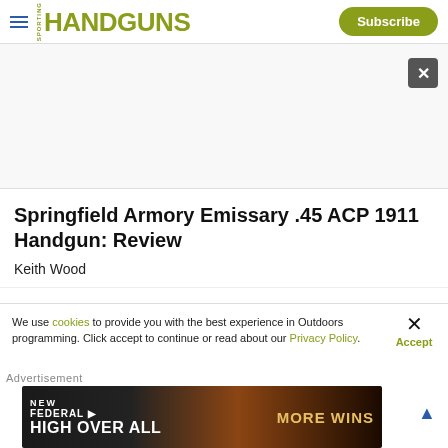HANDGUNS | Subscribe
[Figure (photo): White/light grey image area with close X button in top right corner]
Springfield Armory Emissary .45 ACP 1911 Handgun: Review
Keith Wood
We use cookies to provide you with the best experience in Outdoors programming. Click accept to continue or read about our Privacy Policy.
Advertisement
[Figure (photo): Federal High Over All advertisement banner - NEW FEDERAL HIGH OVER ALL MORE WINS]